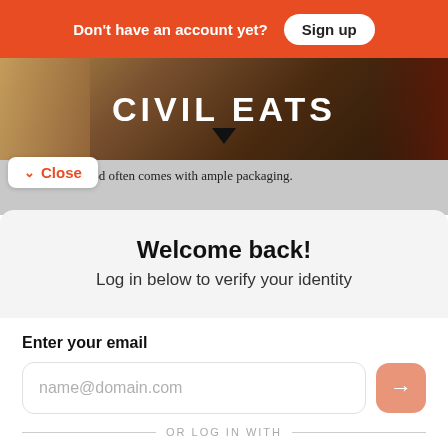Don't have an account yet? Sign up
[Figure (screenshot): Civil Eats website article hero image with dark food photography background and 'CIVIL EATS' logo text in white]
The delivery food often comes with ample packaging.
Close
Welcome back!
Log in below to verify your identity
Enter your email
name@domain.com
OR LOG IN WITH
Facebook
Google